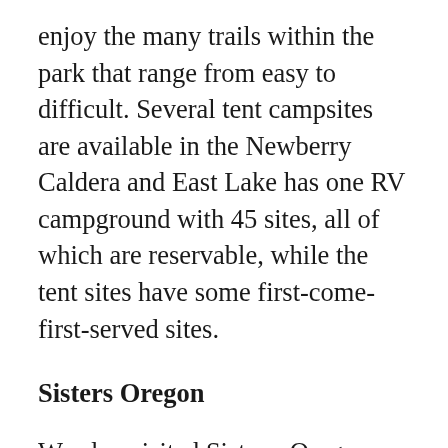enjoy the many trails within the park that range from easy to difficult. Several tent campsites are available in the Newberry Caldera and East Lake has one RV campground with 45 sites, all of which are reservable, while the tent sites have some first-come-first-served sites.
Sisters Oregon
We also visited Sisters, Oregon, a small town of less than 2 square miles and a population of 2,038 as of the 2010 census. We found Sisters a quaint little town with plenty of stores to keep any shopper busy,